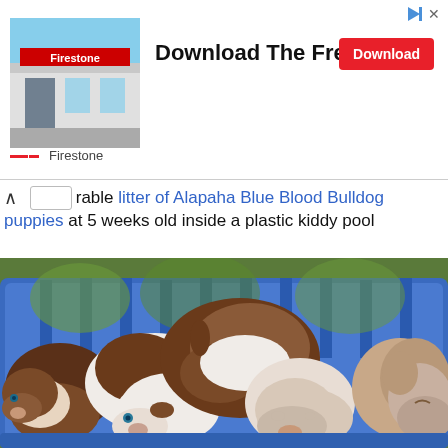[Figure (screenshot): Advertisement banner for Firestone showing a store photo, 'Download The Free App' text, a red Download button, and Firestone brand name.]
rable litter of Alapaha Blue Blood Bulldog puppies at 5 weeks old inside a plastic kiddy pool
[Figure (photo): A litter of Alapaha Blue Blood Bulldog puppies, approximately 5 weeks old, piled together inside a blue plastic kiddy pool. The puppies are brown, white, and tan colored.]